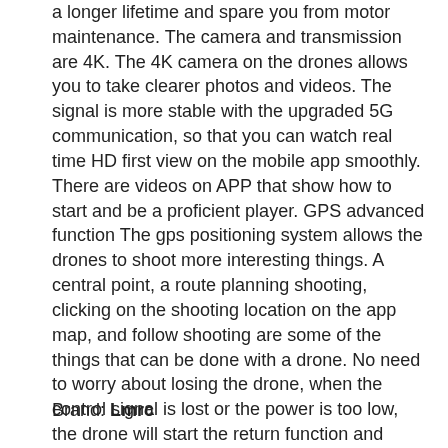a longer lifetime and spare you from motor maintenance. The camera and transmission are 4K. The 4K camera on the drones allows you to take clearer photos and videos. The signal is more stable with the upgraded 5G communication, so that you can watch real time HD first view on the mobile app smoothly. There are videos on APP that show how to start and be a proficient player. GPS advanced function The gps positioning system allows the drones to shoot more interesting things. A central point, a route planning shooting, clicking on the shooting location on the app map, and follow shooting are some of the things that can be done with a drone. No need to worry about losing the drone, when the control signal is lost or the power is too low, the drone will start the return function and automatically return to the take-off location. The return button can be manually pressed when you want to end the flight. No need to worry about losing the drone, when the control signal is lost or the power is too low, the drone will start the return function and automatically return to the take-off location. The return button can be manually pressed when you want to end the flight.
Brand: Lmrc